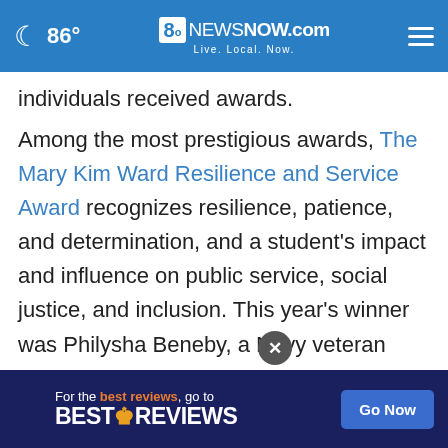86° 8NewsNow.com Live. Local. Now.
individuals received awards.
Among the most prestigious awards, The Mary Kim Ward Resilience and Service Award recognizes resilience, patience, and determination, and a student's impact and influence on public service, social justice, and inclusion. This year's winner was Philysha Beneby, a Navy veteran with a Master's in Psychology from AMU. In addition to trauma couns[eling], [specialist], providing ser[vices] for homeless communities in
[Figure (other): Advertisement banner: 'For the best reviews, go to BESTREVIEWS' with a 'Go Now' button, overlaid at the bottom of the page. Includes a close (X) button.]